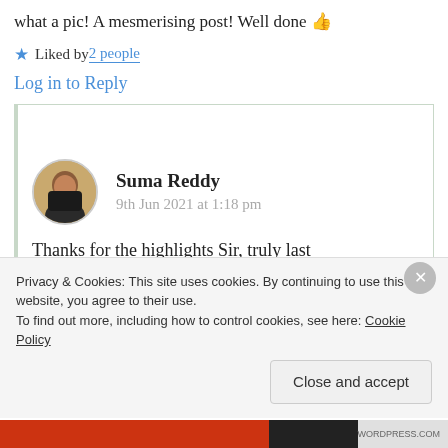what a pic! A mesmerising post! Well done 👍
★ Liked by 2 people
Log in to Reply
Suma Reddy
9th Jun 2021 at 1:18 pm
Thanks for the highlights Sir, truly last
Privacy & Cookies: This site uses cookies. By continuing to use this website, you agree to their use.
To find out more, including how to control cookies, see here: Cookie Policy
Close and accept